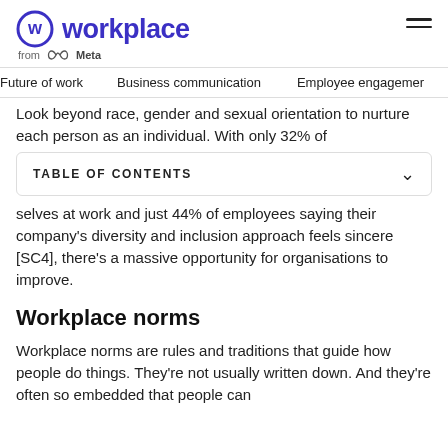[Figure (logo): Workplace from Meta logo — circular W icon in indigo/blue, 'workplace' text in indigo, 'from Meta' with Meta infinity logo below]
Future of work   Business communication   Employee engagement
Look beyond race, gender and sexual orientation to nurture each person as an individual. With only 32% of
TABLE OF CONTENTS
selves at work and just 44% of employees saying their company's diversity and inclusion approach feels sincere [SC4], there's a massive opportunity for organisations to improve.
Workplace norms
Workplace norms are rules and traditions that guide how people do things. They're not usually written down. And they're often so embedded that people can